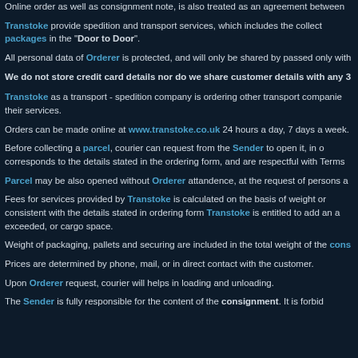Online order as well as consignment note, is also treated as an agreement between
Transtoke provide spedition and transport services, which includes the collect packages in the "Door to Door".
All personal data of Orderer is protected, and will only be shared by passed only with
We do not store credit card details nor do we share customer details with any 3
Transtoke as a transport - spedition company is ordering other transport companie their services.
Orders can be made online at www.transtoke.co.uk 24 hours a day, 7 days a week.
Before collecting a parcel, courier can request from the Sender to open it, in o corresponds to the details stated in the ordering form, and are respectful with Terms
Parcel may be also opened without Orderer attandence, at the request of persons a
Fees for services provided by Transtoke is calculated on the basis of weight or consistent with the details stated in ordering form Transtoke is entitled to add an a exceeded, or cargo space.
Weight of packaging, pallets and securing are included in the total weight of the cons
Prices are determined by phone, mail, or in direct contact with the customer.
Upon Orderer request, courier will helps in loading and unloading.
The Sender is fully responsible for the content of the consignment. It is forbid